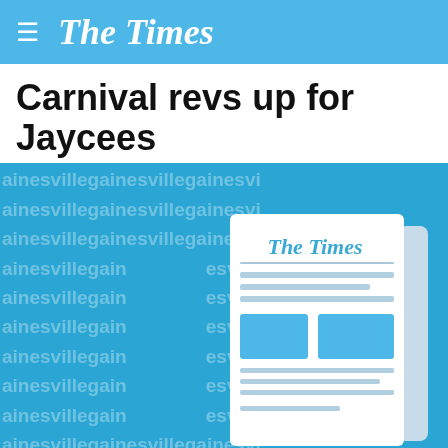The Times
Carnival revs up for Jaycees
[Figure (illustration): Illustration of a newspaper (The Times) on a blue background with repeated 'gainesville' watermark text. The newspaper icon shows 'The Times' masthead and stylized article content including text lines and image blocks.]